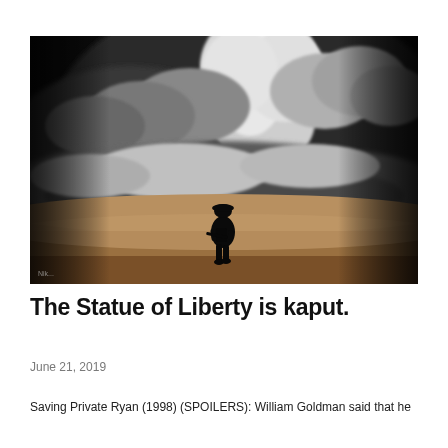[Figure (photo): Black and white photograph of a lone soldier silhouetted against a dramatic cloudy sky, standing on sandy ground with a rifle, facing away from the camera. The image has a sepia-toned sandy foreground contrasting with the dark, turbulent sky and large billowing smoke or cloud formation.]
The Statue of Liberty is kaput.
June 21, 2019
Saving Private Ryan (1998) (SPOILERS): William Goldman said that he